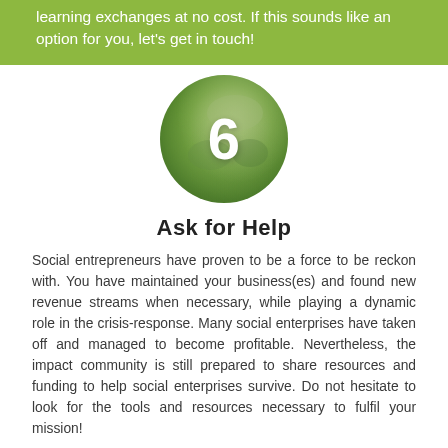learning exchanges at no cost. If this sounds like an option for you, let's get in touch!
[Figure (illustration): Circular photo of a group of people with a large white numeral 6 overlaid in the center, on a green-toned background]
Ask for Help
Social entrepreneurs have proven to be a force to be reckon with. You have maintained your business(es) and found new revenue streams when necessary, while playing a dynamic role in the crisis-response. Many social enterprises have taken off and managed to become profitable. Nevertheless, the impact community is still prepared to share resources and funding to help social enterprises survive. Do not hesitate to look for the tools and resources necessary to fulfil your mission!
For example, an unprecedented collaboration